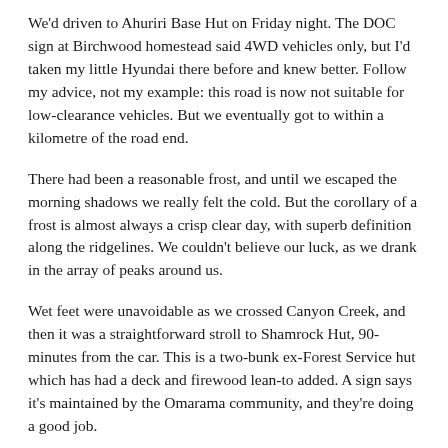We'd driven to Ahuriri Base Hut on Friday night. The DOC sign at Birchwood homestead said 4WD vehicles only, but I'd taken my little Hyundai there before and knew better. Follow my advice, not my example: this road is now not suitable for low-clearance vehicles. But we eventually got to within a kilometre of the road end.
There had been a reasonable frost, and until we escaped the morning shadows we really felt the cold. But the corollary of a frost is almost always a crisp clear day, with superb definition along the ridgelines. We couldn't believe our luck, as we drank in the array of peaks around us.
Wet feet were unavoidable as we crossed Canyon Creek, and then it was a straightforward stroll to Shamrock Hut, 90-minutes from the car. This is a two-bunk ex-Forest Service hut which has had a deck and firewood lean-to added. A sign says it's maintained by the Omarama community, and they're doing a good job.